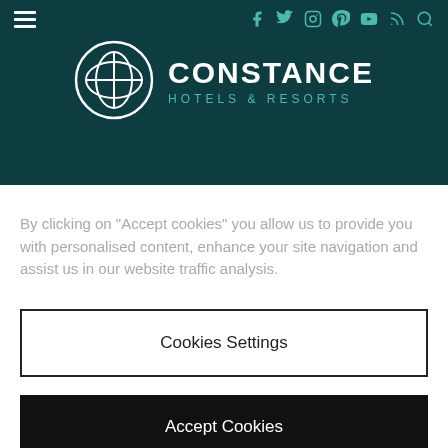[Figure (logo): Constance Hotels & Resorts logo on dark teal background with navigation bar showing hamburger menu and social media icons]
By clicking on “Accept cookies” you allow us to provide you with personalised content, enhance your site navigation and assist us in our website traffic analysis.
Cookies Settings
Accept Cookies